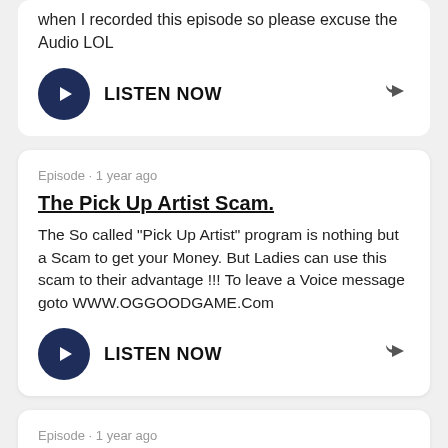when I recorded this episode so please excuse the Audio LOL
LISTEN NOW
Episode · 1 year ago
The Pick Up Artist Scam.
The So called "Pick Up Artist" program is nothing but a Scam to get your Money. But Ladies can use this scam to their advantage !!! To leave a Voice message goto WWW.OGGOODGAME.Com
LISTEN NOW
Episode · 1 year ago
The New website update and The Covid episode.